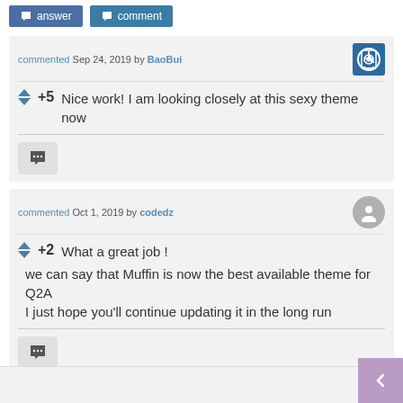[Figure (other): Two buttons: 'answer' and 'comment']
commented Sep 24, 2019 by BaoBui
+5  Nice work! I am looking closely at this sexy theme now
commented Oct 1, 2019 by codedz
+2  What a great job ! we can say that Muffin is now the best available theme for Q2A
I just hope you'll continue updating it in the long run